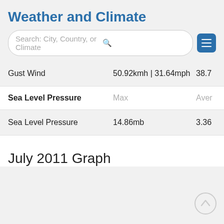Weather and Climate
|  | Max | Aver |
| --- | --- | --- |
| Gust Wind | 50.92kmh | 31.64mph | 38.7 |
| Sea Level Pressure | 14.86mb | 3.36 |
July 2011 Graph